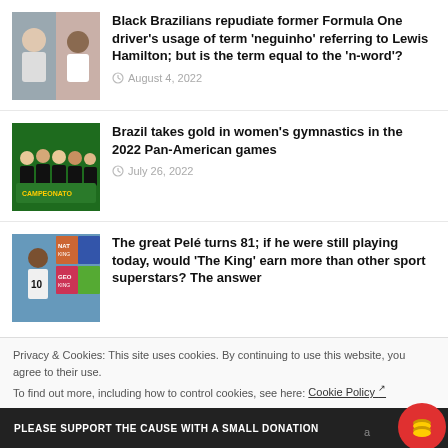[Figure (photo): Thumbnail photo of two people, one older man and one in white shirt]
Black Brazilians repudiate former Formula One driver's usage of term 'neguinho' referring to Lewis Hamilton; but is the term equal to the 'n-word'?
August 4, 2022
[Figure (photo): Thumbnail photo of Brazilian women's gymnastics team in black uniforms]
Brazil takes gold in women's gymnastics in the 2022 Pan-American games
July 26, 2022
[Figure (photo): Thumbnail photo of Pelé and colorful magazine covers]
The great Pelé turns 81; if he were still playing today, would 'The King' earn more than other sport superstars? The answer
Privacy & Cookies: This site uses cookies. By continuing to use this website, you agree to their use.
To find out more, including how to control cookies, see here: Cookie Policy ↗
PLEASE SUPPORT THE CAUSE WITH A SMALL DONATION